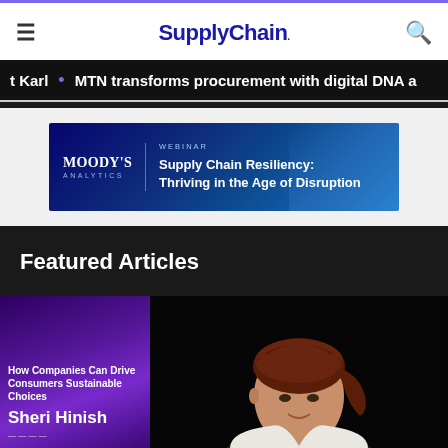SupplyChain.
Karl • MTN transforms procurement with digital DNA a
[Figure (other): Moody's Analytics webinar banner: Supply Chain Resiliency: Thriving in the Age of Disruption]
Featured Articles
[Figure (photo): Left panel: purple slide with text 'Consumers Sustainable Choices' and name 'Sheri Hinish'. Right panel: woman with auburn hair smiling, dark background.]